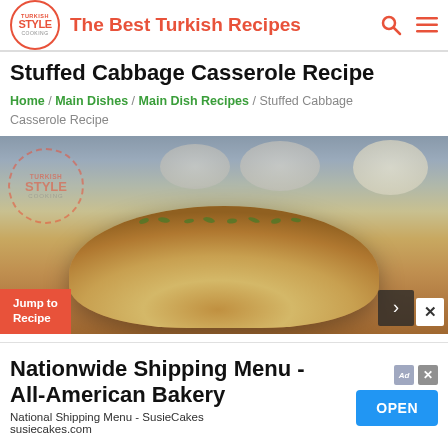TURKISH STYLE COOKING | The Best Turkish Recipes
Stuffed Cabbage Casserole Recipe
Home / Main Dishes / Main Dish Recipes / Stuffed Cabbage Casserole Recipe
[Figure (photo): Photo of a stuffed cabbage casserole dish with Turkish Style Cooking watermark, Jump to Recipe button, and navigation arrow overlay]
Nationwide Shipping Menu - All-American Bakery
National Shipping Menu - SusieCakes
susiecakes.com
OPEN